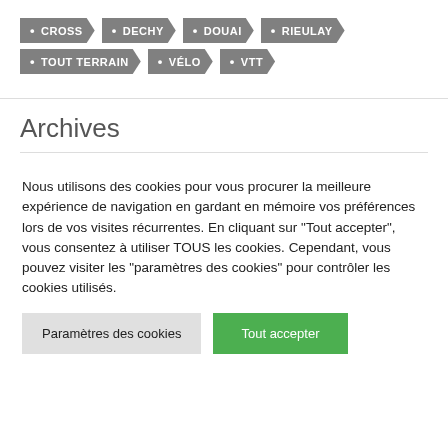CROSS
DECHY
DOUAI
RIEULAY
TOUT TERRAIN
VÉLO
VTT
Archives
Nous utilisons des cookies pour vous procurer la meilleure expérience de navigation en gardant en mémoire vos préférences lors de vos visites récurrentes. En cliquant sur "Tout accepter", vous consentez à utiliser TOUS les cookies. Cependant, vous pouvez visiter les "paramètres des cookies" pour contrôler les cookies utilisés.
Paramètres des cookies
Tout accepter